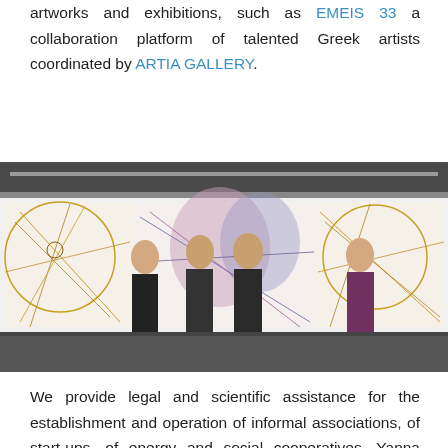artworks and exhibitions, such as EMEIS 33 a collaboration platform of talented Greek artists coordinated by ARTIA GALLERY.
[Figure (photo): Four people standing in front of a large colorful artwork/mural displayed on white walls in what appears to be an art gallery exhibition space. The mural features abstract and figurative drawings in various colors.]
We provide legal and scientific assistance for the establishment and operation of informal associations, of start-ups, of energy and social cooperatives. Yanna Pavlopoulou and team members of CommonLawgic